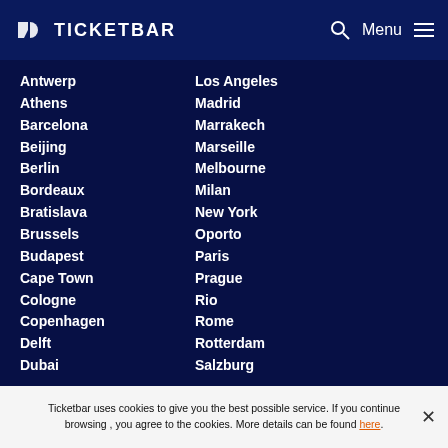TICKETBAR — Menu
Antwerp | Los Angeles
Athens | Madrid
Barcelona | Marrakech
Beijing | Marseille
Berlin | Melbourne
Bordeaux | Milan
Bratislava | New York
Brussels | Oporto
Budapest | Paris
Cape Town | Prague
Cologne | Rio
Copenhagen | Rome
Delft | Rotterdam
Dubai | Salzburg
Ticketbar uses cookies to give you the best possible service. If you continue browsing , you agree to the cookies. More details can be found here.